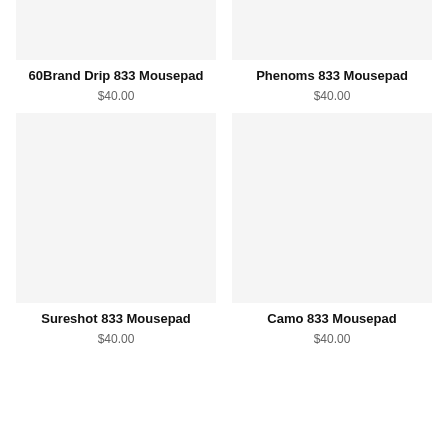[Figure (photo): Product image placeholder for 60Brand Drip 833 Mousepad, light gray background]
60Brand Drip 833 Mousepad
$40.00
[Figure (photo): Product image placeholder for Phenoms 833 Mousepad, light gray background]
Phenoms 833 Mousepad
$40.00
[Figure (photo): Product image placeholder for Sureshot 833 Mousepad, light gray background]
Sureshot 833 Mousepad
$40.00
[Figure (photo): Product image placeholder for Camo 833 Mousepad, light gray background]
Camo 833 Mousepad
$40.00